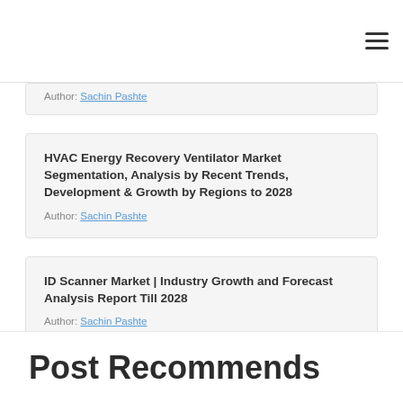☰
Author: Sachin Pashte
HVAC Energy Recovery Ventilator Market Segmentation, Analysis by Recent Trends, Development & Growth by Regions to 2028
Author: Sachin Pashte
ID Scanner Market | Industry Growth and Forecast Analysis Report Till 2028
Author: Sachin Pashte
Post Recommends